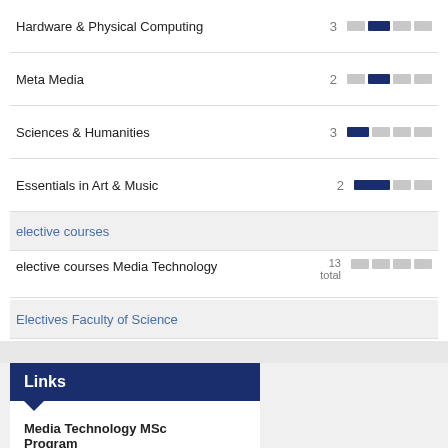Hardware & Physical Computing  3
Meta Media  2
Sciences & Humanities  3
Essentials in Art & Music  2
elective courses
elective courses Media Technology  13 total
Electives Faculty of Science
Links
Media Technology MSc Program
Programme calendar